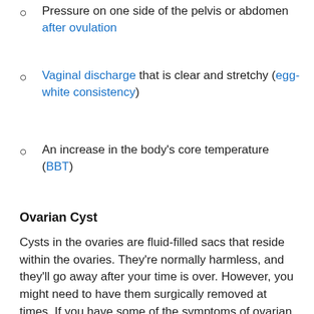Pressure on one side of the pelvis or abdomen after ovulation
Vaginal discharge that is clear and stretchy (egg-white consistency)
An increase in the body's core temperature (BBT)
Ovarian Cyst
Cysts in the ovaries are fluid-filled sacs that reside within the ovaries. They're normally harmless, and they'll go away after your time is over. However, you might need to have them surgically removed at times. If you have some of the symptoms of ovarian cysts, contact the doctor. Only ultrasound will confirm the